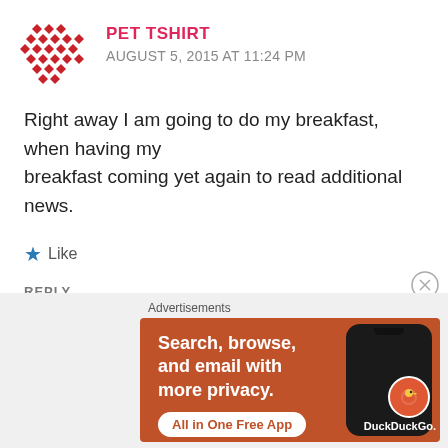[Figure (logo): Red diamond-pattern avatar icon for user PET TSHIRT]
PET TSHIRT
AUGUST 5, 2015 AT 11:24 PM
Right away I am going to do my breakfast, when having my breakfast coming yet again to read additional news.
★ Like
REPLY
[Figure (screenshot): DuckDuckGo advertisement banner on orange background: Search, browse, and email with more privacy. All in One Free App. Shows phone with DuckDuckGo logo.]